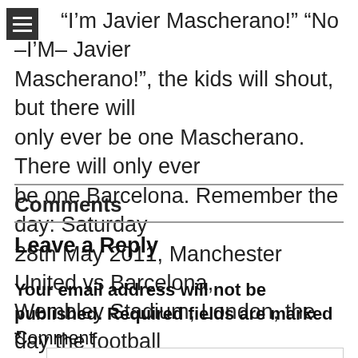“I’m Javier Mascherano!” “No –I’M– Javier Mascherano!”, the kids will shout, but there will only ever be one Mascherano. There will only ever be one Barcelona. Remember the day: Saturday 28th May 2011, Manchester United vs Barcelona, Wembley Stadium, London, the day the football ended.
Comments
Leave a Reply
Your email address will not be published. Required fields are marked *
Comment